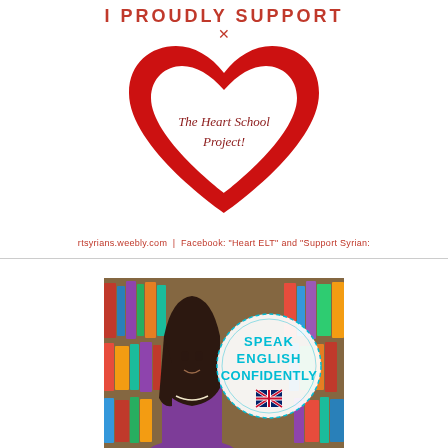I PROUDLY SUPPORT
[Figure (logo): Red heart outline logo with inner heart shape containing text 'The Heart School Project!' in dark red cursive font]
rtsyrians.weebly.com | Facebook: 'Heart ELT' and 'Support Syrian:
[Figure (photo): Photo of a woman with long dark hair in front of a bookshelf, with a circular badge overlay reading 'SPEAK ENGLISH CONFIDENTLY' in cyan text with a UK flag]